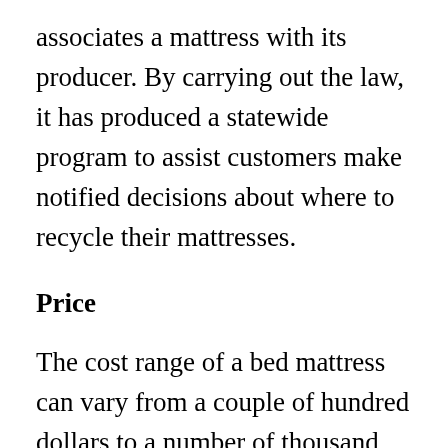associates a mattress with its producer. By carrying out the law, it has produced a statewide program to assist customers make notified decisions about where to recycle their mattresses.
Price
The cost range of a bed mattress can vary from a couple of hundred dollars to a number of thousand dollars. If you’re unsure of what your budget ought to be, consider getting an utilized bed mattress instead of a brand-new one. Utilized beds can be bought for twenty to thirty percent